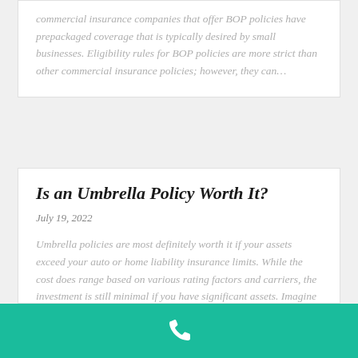commercial insurance companies that offer BOP policies have prepackaged coverage that is typically desired by small businesses. Eligibility rules for BOP policies are more strict than other commercial insurance policies; however, they can...
Is an Umbrella Policy Worth It?
July 19, 2022
Umbrella policies are most definitely worth it if your assets exceed your auto or home liability insurance limits. While the cost does range based on various rating factors and carriers, the investment is still minimal if you have significant assets. Imagine this
[Figure (other): Teal/green footer bar with a white phone handset icon centered]